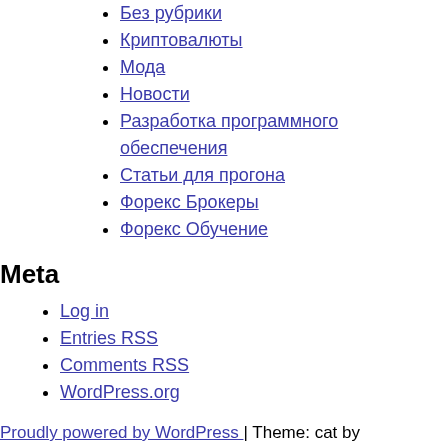Без рубрики
Криптовалюты
Мода
Новости
Разработка программного обеспечения
Статьи для прогона
Форекс Брокеры
Форекс Обучение
Meta
Log in
Entries RSS
Comments RSS
WordPress.org
Proudly powered by WordPress | Theme: cat by Underscores.me.